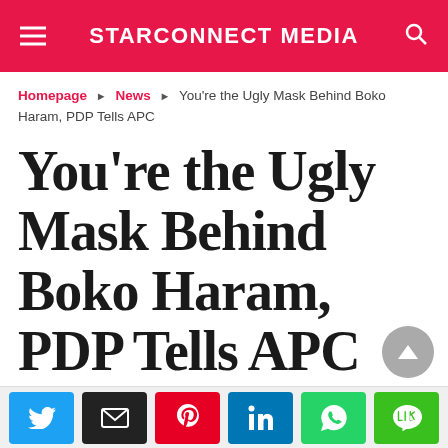STARCONNECT MEDIA
Homepage ▶ News ▶ You're the Ugly Mask Behind Boko Haram, PDP Tells APC
You're the Ugly Mask Behind Boko Haram, PDP Tells APC